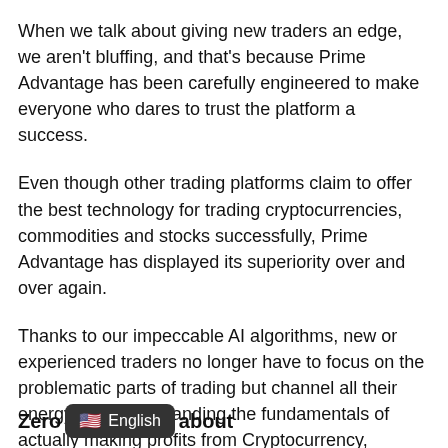When we talk about giving new traders an edge, we aren't bluffing, and that's because Prime Advantage has been carefully engineered to make everyone who dares to trust the platform a success.
Even though other trading platforms claim to offer the best technology for trading cryptocurrencies, commodities and stocks successfully, Prime Advantage has displayed its superiority over and over again.
Thanks to our impeccable AI algorithms, new or experienced traders no longer have to focus on the problematic parts of trading but channel all their energy into understanding the fundamentals of actually making profits from Cryptocurrency, commodities, and assets trading using Them News Spy platform.
Zero [English language badge] about